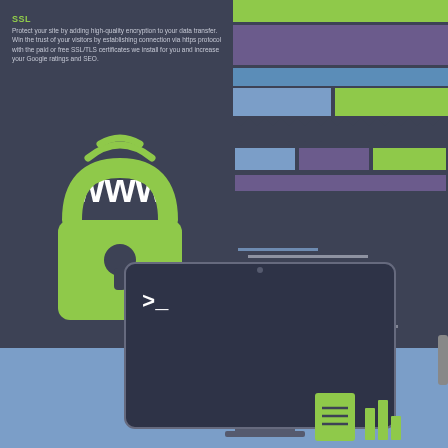SSL
Protect your site by adding high-quality encryption to your data transfer. Win the trust of your visitors by establishing connection via https protocol with the paid or free SSL/TLS certificates we install for you and increase your Google ratings and SEO.
[Figure (illustration): Green padlock icon with WWW text above it, representing SSL/secure web connection]
[Figure (illustration): Web page layout mockup with colored blocks (green, purple, blue) representing website elements, with zigzag torn paper dividers]
[Figure (illustration): Code editor representation with horizontal lines of colored code (blue, green, white lines on dark background)]
css/html/php
All our servers support css, html, and php based software and are highly optimized with patches and additional technology to better their performance. Our advanced technical experts are ready to advise
[Figure (illustration): Terminal/command line interface (dark rounded rectangle with >_ prompt) on a monitor, with document and bar chart icons, on blue background]